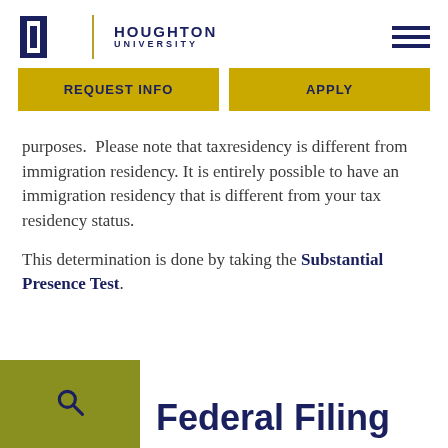Houghton University
REQUEST INFO
APPLY
purposes.  Please note that taxresidency is different from immigration residency. It is entirely possible to have an immigration residency that is different from your tax residency status.
This determination is done by taking the Substantial Presence Test.
Federal Filing